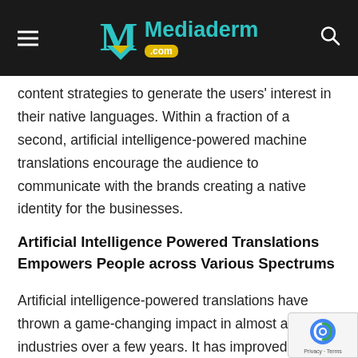Mediaderm.com
content strategies to generate the users' interest in their native languages. Within a fraction of a second, artificial intelligence-powered machine translations encourage the audience to communicate with the brands creating a native identity for the businesses.
Artificial Intelligence Powered Translations Empowers People across Various Spectrums
Artificial intelligence-powered translations have thrown a game-changing impact in almost all industries over a few years. It has improved the overall life of the people as it has enabled the world